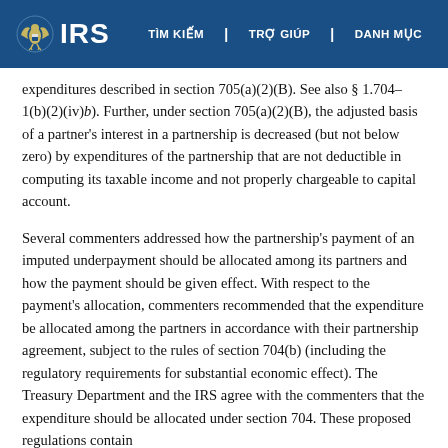IRS | TÌM KIẾM | TRỢ GIÚP | DANH MỤC
expenditures described in section 705(a)(2)(B). See also § 1.704–1(b)(2)(iv)(b). Further, under section 705(a)(2)(B), the adjusted basis of a partner's interest in a partnership is decreased (but not below zero) by expenditures of the partnership that are not deductible in computing its taxable income and not properly chargeable to capital account.
Several commenters addressed how the partnership's payment of an imputed underpayment should be allocated among its partners and how the payment should be given effect. With respect to the payment's allocation, commenters recommended that the expenditure be allocated among the partners in accordance with their partnership agreement, subject to the rules of section 704(b) (including the regulatory requirements for substantial economic effect). The Treasury Department and the IRS agree with the commenters that the expenditure should be allocated under section 704. These proposed regulations contain